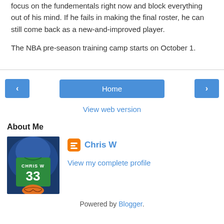focus on the fundementals right now and block everything out of his mind. If he fails in making the final roster, he can still come back as a new-and-improved player.

The NBA pre-season training camp starts on October 1.
Home
View web version
About Me
[Figure (photo): Profile photo of Chris W - basketball jersey number 33 with name CHRIS W on green jersey with basketball]
Chris W
View my complete profile
Powered by Blogger.